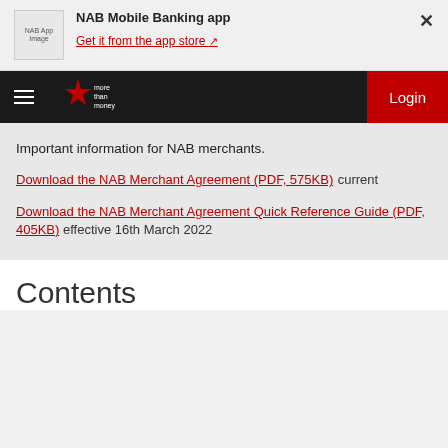[Figure (logo): NAB App Image placeholder logo box]
NAB Mobile Banking app
Get it from the app store ↗
[Figure (logo): NAB more than money star logo in navigation bar]
Login
Important information for NAB merchants.
Download the NAB Merchant Agreement (PDF, 575KB) current
Download the NAB Merchant Agreement Quick Reference Guide (PDF, 405KB) effective 16th March 2022
Contents